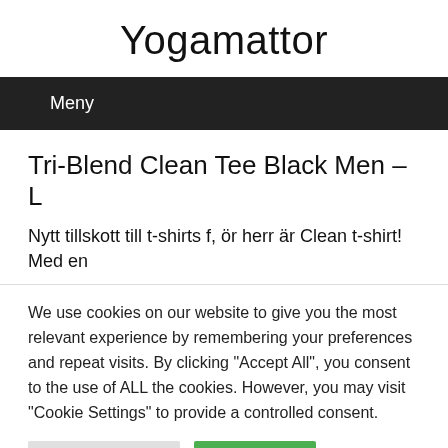Yogamattor
Meny
Tri-Blend Clean Tee Black Men – L
Nytt tillskott till t-shirts f, ör herr är Clean t-shirt! Med en
We use cookies on our website to give you the most relevant experience by remembering your preferences and repeat visits. By clicking "Accept All", you consent to the use of ALL the cookies. However, you may visit "Cookie Settings" to provide a controlled consent.
Cookie Settings    Accept All